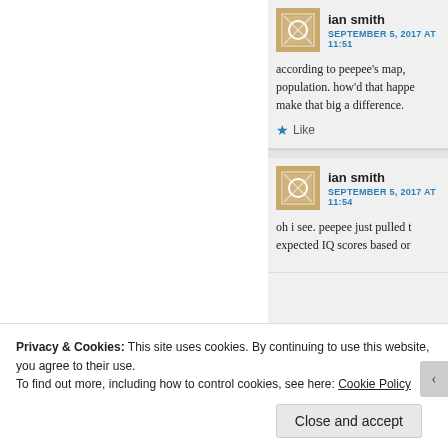ian smith
SEPTEMBER 5, 2017 AT 11:51
according to peepee's map, population. how'd that happe make that big a difference.
Like
ian smith
SEPTEMBER 5, 2017 AT 11:54
oh i see. peepee just pulled t expected IQ scores based or
Privacy & Cookies: This site uses cookies. By continuing to use this website, you agree to their use. To find out more, including how to control cookies, see here: Cookie Policy
Close and accept